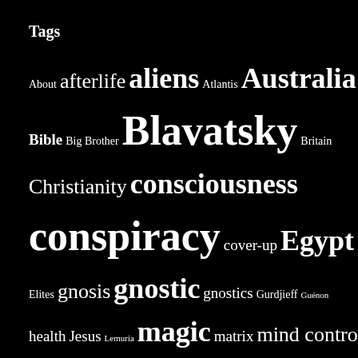Tags
[Figure (infographic): Tag cloud on black background with words in varying font sizes representing topics: About, afterlife, aliens, Atlantis, Australia, Bible, Big Brother, Blavatsky, Britain, Christianity, consciousness, conspiracy, cover-up, Egypt, Eurasia, Global, Elites, gnosis, gnostic, gnostics, Gurdjieff, Guénon, health, Jesus, Lemuria, magic, matrix, mind control, NDE, new age, New World Order, occult, paranormal, prophecy, Prophecy & Prediction, psychic, Putin, reincarnation, Russia, secret]